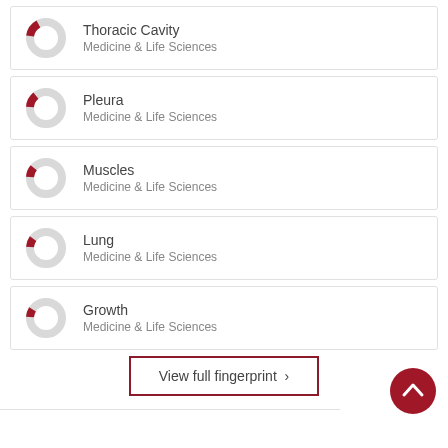[Figure (donut-chart): Small donut chart with red slice, Thoracic Cavity]
Thoracic Cavity
Medicine & Life Sciences
[Figure (donut-chart): Small donut chart with red slice, Pleura]
Pleura
Medicine & Life Sciences
[Figure (donut-chart): Small donut chart with red slice, Muscles]
Muscles
Medicine & Life Sciences
[Figure (donut-chart): Small donut chart with red slice, Lung]
Lung
Medicine & Life Sciences
[Figure (donut-chart): Small donut chart with red slice, Growth]
Growth
Medicine & Life Sciences
View full fingerprint ›